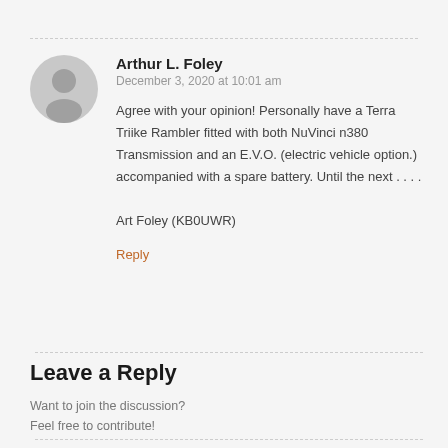Arthur L. Foley
December 3, 2020 at 10:01 am
Agree with your opinion! Personally have a Terra Triike Rambler fitted with both NuVinci n380 Transmission and an E.V.O. (electric vehicle option.) accompanied with a spare battery. Until the next . . . . Art Foley (KB0UWR)
Reply
Leave a Reply
Want to join the discussion?
Feel free to contribute!